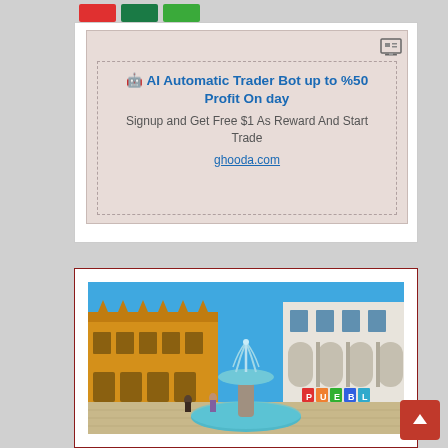[Figure (other): Three social sharing buttons: red, dark green, and lime green]
[Figure (other): Advertisement box with pink/beige background. Title: AI Automatic Trader Bot up to %50 Profit On day. Subtitle: Signup and Get Free $1 As Reward And Start Trade. Link: ghooda.com]
[Figure (photo): Photo of a Mexican plaza with a fountain in the center, yellow colonial building on the left, white arched building on the right, colorful PUEBLA letters visible, blue sky]